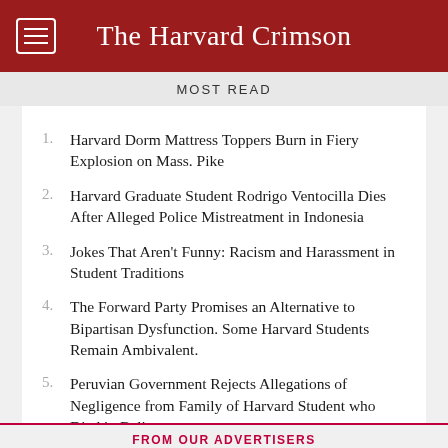The Harvard Crimson
MOST READ
Harvard Dorm Mattress Toppers Burn in Fiery Explosion on Mass. Pike
Harvard Graduate Student Rodrigo Ventocilla Dies After Alleged Police Mistreatment in Indonesia
Jokes That Aren't Funny: Racism and Harassment in Student Traditions
The Forward Party Promises an Alternative to Bipartisan Dysfunction. Some Harvard Students Remain Ambivalent.
Peruvian Government Rejects Allegations of Negligence from Family of Harvard Student who Died in Bali
ADVERTISEMENT
FROM OUR ADVERTISERS